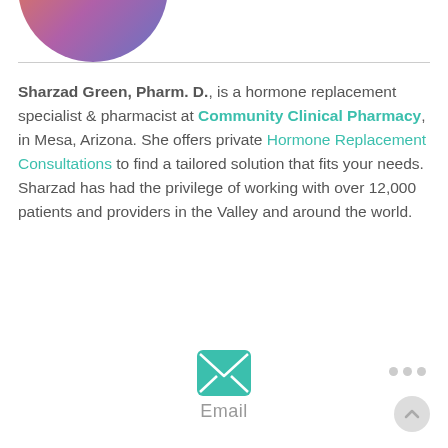[Figure (photo): Circular profile photo of Sharzad Green, partially visible at top of page]
Sharzad Green, Pharm. D., is a hormone replacement specialist & pharmacist at Community Clinical Pharmacy, in Mesa, Arizona. She offers private Hormone Replacement Consultations to find a tailored solution that fits your needs. Sharzad has had the privilege of working with over 12,000 patients and providers in the Valley and around the world.
[Figure (infographic): Teal email envelope icon with label 'Email' below it]
Email